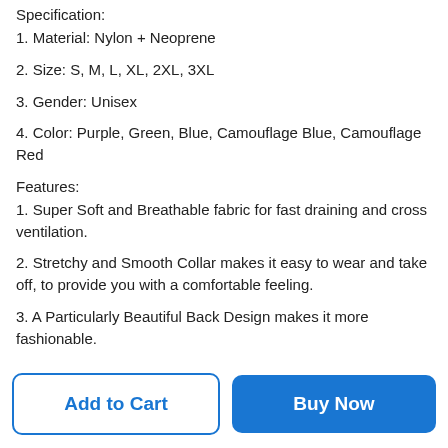Specification:
1. Material: Nylon + Neoprene
2. Size: S, M, L, XL, 2XL, 3XL
3. Gender: Unisex
4. Color: Purple, Green, Blue, Camouflage Blue, Camouflage Red
Features:
1. Super Soft and Breathable fabric for fast draining and cross ventilation.
2. Stretchy and Smooth Collar makes it easy to wear and take off, to provide you with a comfortable feeling.
3. A Particularly Beautiful Back Design makes it more fashionable.
4. Upgrade Anti-Slip Rubber Sole to provide flexibility and
Add to Cart | Buy Now